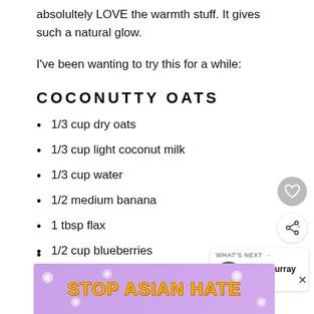absolultely LOVE the warmth stuff. It gives such a natural glow.
I've been wanting to try this for a while:
COCONUTTY OATS
1/3 cup dry oats
1/3 cup light coconut milk
1/3 cup water
1/2 medium banana
1 tbsp flax
1/2 cup blueberries
[Figure (infographic): Stop Asian Hate advertisement banner with purple background, orange-yellow bold text, white flower decorations, and a cartoon figure]